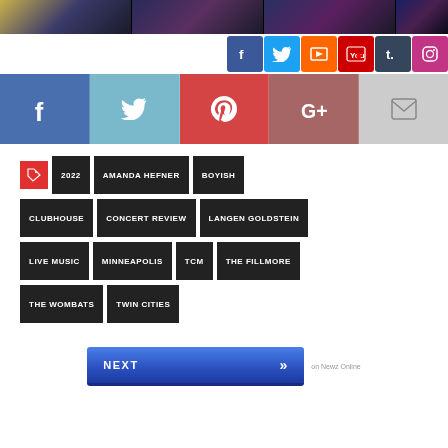[Figure (photo): Photo strip with four concert/event photos with venue watermarks]
[Figure (infographic): Row of social media icon buttons: Facebook, Twitter, RSS, YouTube, Tumblr, Instagram]
[Figure (infographic): Share bar with Facebook, Twitter, Pinterest, Google+, Email icon buttons]
Tags: 2022, AMANDA HEFNER, BOYISH, CLUBHOUSE, CONCERT REVIEW, LANGEN GOLDSTEIN, LIVE MUSIC, MINNEAPOLIS, TCM, THE FILLMORE, THE WOMBATS, TWIN CITIES
[Figure (infographic): NEXT button with double chevron arrows, labeled 'on Newz Online']